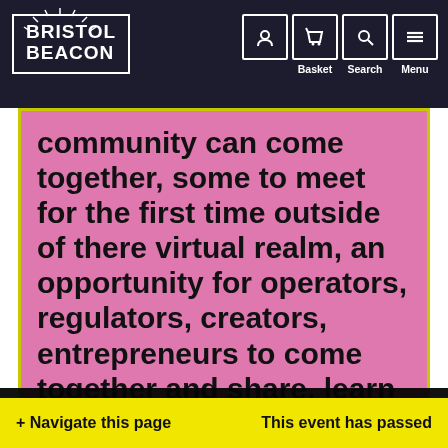Bristol Beacon — Navigation bar with logo, Basket, Search, Menu icons
community can come together, some to meet for the first time outside of there virtual realm, an opportunity for operators, regulators, creators, entrepreneurs to come together and share, learn and build a
We use cookies to ensure we give you the best experience of our website. Learn about how we use them.
Accept
+ Navigate this page   This event has passed